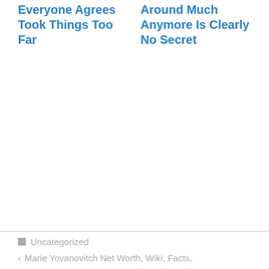Everyone Agrees Took Things Too Far
Around Much Anymore Is Clearly No Secret
Uncategorized
Marie Yovanovitch Net Worth, Wiki, Facts,